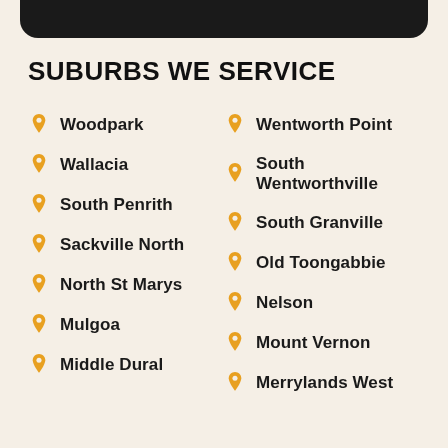SUBURBS WE SERVICE
Woodpark
Wentworth Point
Wallacia
South Wentworthville
South Penrith
South Granville
Sackville North
Old Toongabbie
North St Marys
Nelson
Mulgoa
Mount Vernon
Middle Dural
Merrylands West